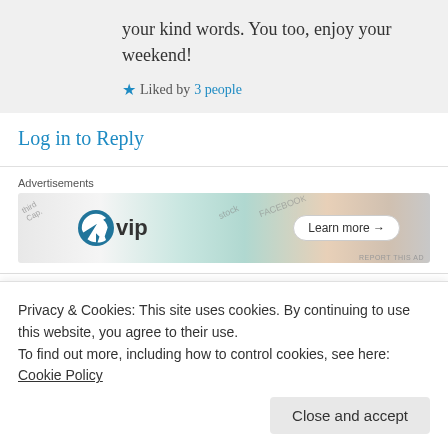your kind words. You too, enjoy your weekend!
★ Liked by 3 people
Log in to Reply
Advertisements
[Figure (infographic): WordPress VIP advertisement banner with colorful background showing stock and Facebook logos, with a Learn more button]
PIYUSH BILANDI on 21/06/2017 at 17:52
Privacy & Cookies: This site uses cookies. By continuing to use this website, you agree to their use.
To find out more, including how to control cookies, see here: Cookie Policy
Close and accept